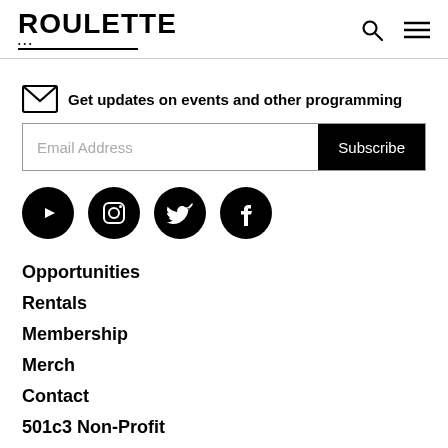ROULETTE
Get updates on events and other programming
Email Address | Subscribe
[Figure (other): Social media icon buttons: YouTube, Instagram, Twitter, Facebook — black circles with white icons]
Opportunities
Rentals
Membership
Merch
Contact
501c3 Non-Profit